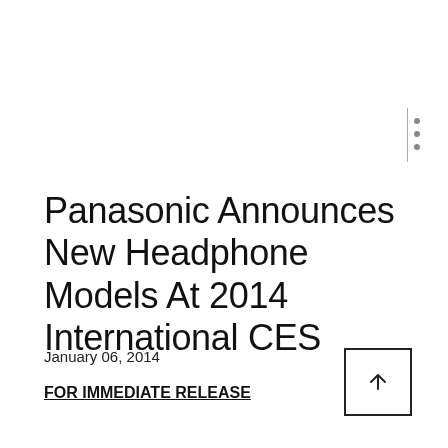Panasonic Announces New Headphone Models At 2014 International CES
January 06, 2014
FOR IMMEDIATE RELEASE